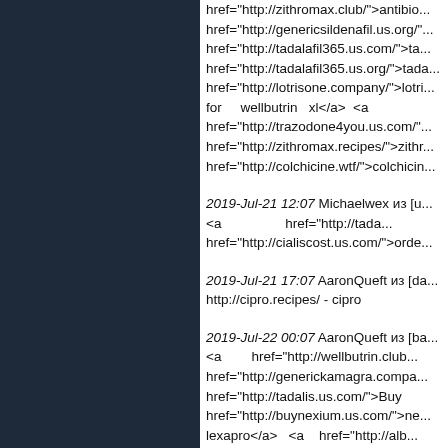href="http://zithromax.club/">antibio... href="http://genericsildenafil.us.org/"... href="http://tadalafil365.us.com/">ta... href="http://tadalafil365.us.org/">tada... href="http://lotrisone.company/">lotri... for wellbutrin xl</a> <a href="http://trazodone4you.us.com/"... href="http://zithromax.recipes/">zithr... href="http://colchicine.wtf/">colchicin...
2019-Jul-21 12:07 Michaelwex из [u... <a href="http://tada... href="http://cialiscost.us.com/">orde...
2019-Jul-21 17:07 AaronQueft из [da... http://cipro.recipes/ - cipro
2019-Jul-22 00:07 AaronQueft из [ba... <a href="http://wellbutrin.club... href="http://generickamagra.compa... href="http://tadalis.us.com/">Buy href="http://buynexium.us.com/">ne... lexapro</a> <a href="http://alb... href="http://buysildenafil.irish/">silde...